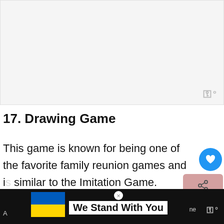[Figure (other): Light gray image placeholder area with a small watermark logo in the bottom right corner]
17. Drawing Game
This game is known for being one of the favorite family reunion games and is similar to the Imitation Game.
[Figure (other): We Stand With You banner with Ukraine flag, close button, and watermark logo]
A ... ne